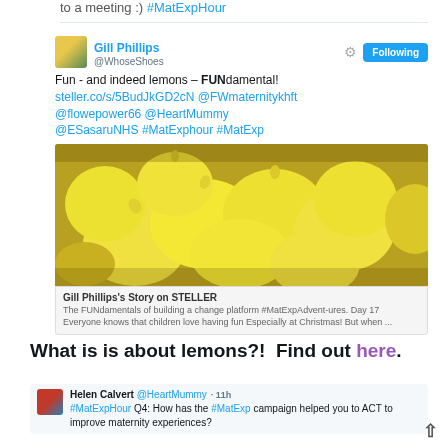to a meeting :) #MatExpHour
[Figure (screenshot): Tweet from Gill Phillips (@WhoseShoes) with Following button. Tweet text: Fun - and indeed lemons – FUNdamental! steller.co/s/5BudJkGD2cN @FWmaternitykhft @flowepower66 @HeartMummy @ESasaruNHS #MatExphour #MatExp. Includes embedded photo of yellow lemons in a basket and a Steller story preview card.]
What is is about lemons?!  Find out here.
[Figure (screenshot): Tweet from Helen Calvert @HeartMummy 11h: #MatExpHour Q4: How has the #MatExp campaign helped you to ACT to improve maternity experiences?]